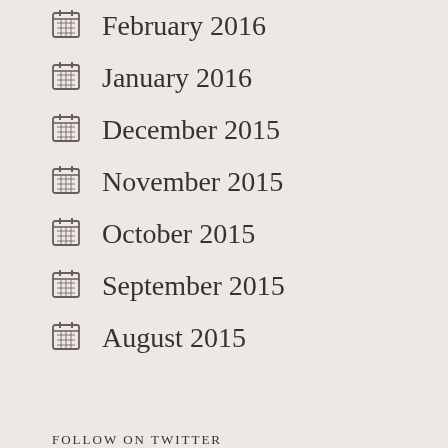February 2016
January 2016
December 2015
November 2015
October 2015
September 2015
August 2015
FOLLOW ON TWITTER